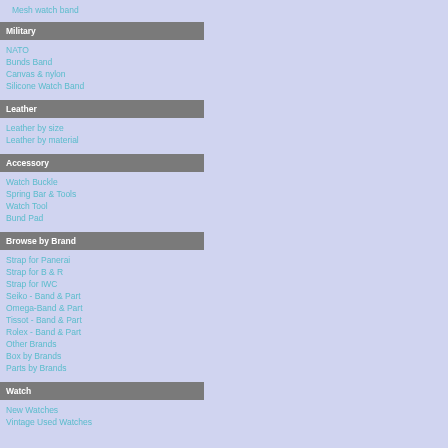Mesh watch band
Military
NATO
Bunds Band
Canvas & nylon
Silicone Watch Band
Leather
Leather by size
Leather by material
Accessory
Watch Buckle
Spring Bar & Tools
Watch Tool
Bund Pad
Browse by Brand
Strap for Panerai
Strap for B & R
Strap for IWC
Seiko - Band & Part
Omega-Band & Part
Tissot - Band & Part
Rolex - Band & Part
Other Brands
Box by Brands
Parts by Brands
Watch
New Watches
Vintage Used Watches